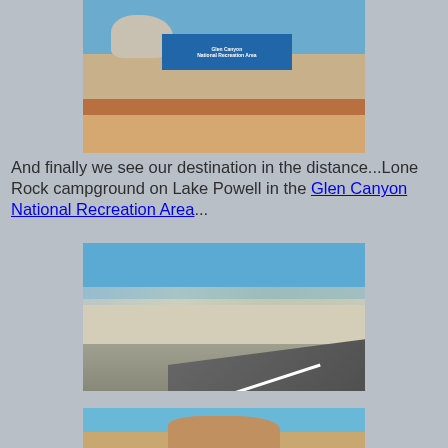[Figure (photo): Glen Canyon National Recreation Area entrance sign with red rock formation, blue sky, desert landscape and red/brown adobe wall structure]
And finally we see our destination in the distance...Lone Rock campground on Lake Powell in the Glen Canyon National Recreation Area...
[Figure (photo): Distant view of Lake Powell and white rock formations from a highway, desert scrubland in foreground, road visible on right side]
[Figure (photo): Partial view showing a large rock formation along a road, blue sky in background — cropped at bottom of page]